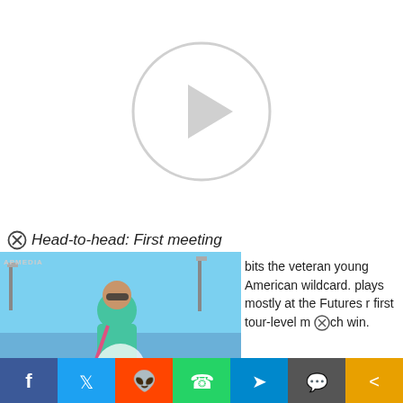[Figure (screenshot): Video player placeholder with large circular play button on white background]
⊗ Head-to-head: First meeting
[Figure (screenshot): Embedded video thumbnail showing a male tennis player in teal shirt walking on a blue outdoor tennis court with AP Media watermark and play button overlay]
bits the veteran young American wildcard. plays mostly at the Futures r first tour-level match win.
Alexandrova has won just two of six matches this
[Figure (infographic): Social media share bar with icons for Facebook, Twitter, Reddit, WhatsApp, Telegram, Comment, and Share]